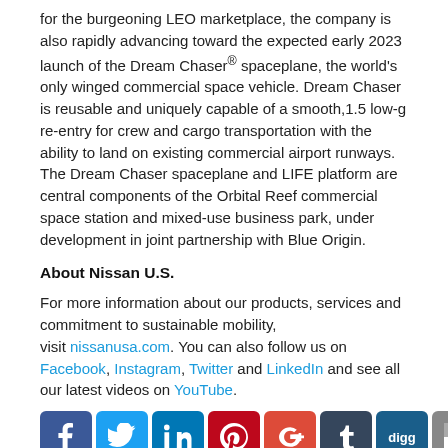for the burgeoning LEO marketplace, the company is also rapidly advancing toward the expected early 2023 launch of the Dream Chaser® spaceplane, the world's only winged commercial space vehicle. Dream Chaser is reusable and uniquely capable of a smooth,1.5 low-g re-entry for crew and cargo transportation with the ability to land on existing commercial airport runways. The Dream Chaser spaceplane and LIFE platform are central components of the Orbital Reef commercial space station and mixed-use business park, under development in joint partnership with Blue Origin.
About Nissan U.S.
For more information about our products, services and commitment to sustainable mobility, visit nissanusa.com. You can also follow us on Facebook, Instagram, Twitter and LinkedIn and see all our latest videos on YouTube.
[Figure (infographic): Row of social media icons: Facebook, Twitter, LinkedIn, Pinterest, Google+, Tumblr, Digg, Delicious]